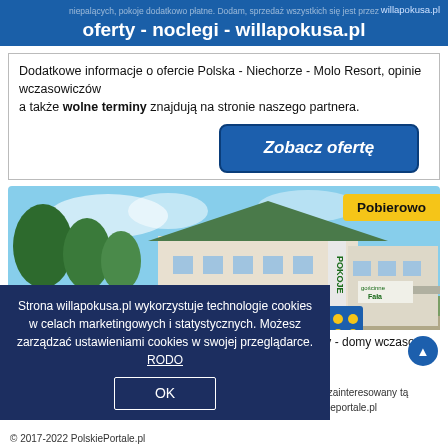oferty - noclegi - willapokusa.pl
Dodatkowe informacje o ofercie Polska - Niechorze - Molo Resort, opinie wczasowiczów
a także wolne terminy znajdują na stronie naszego partnera.
Zobacz ofertę
[Figure (photo): Hotel/pensjonat building with green roof and trees, white facade with POKOJE gościnne Fala sign]
Pobierowo
pensjonaty - domy wczasowe
Strona willapokusa.pl wykorzystuje technologie cookies w celach marketingowych i statystycznych. Możesz zarządzać ustawieniami cookies w swojej przeglądarce. RODO
OK
Poszukujesz miejsca na artykuł sponsorowany z linkiem? Jesteś zainteresowany tą domeną willapokusa.pl? Napisz -> domeny2022(at)polskieportale.pl
© 2017-2022 PolskiePortale.pl